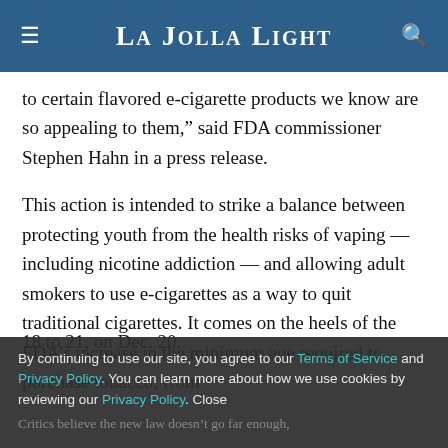La Jolla Light
to certain flavored e-cigarette products we know are so appealing to them,” said FDA commissioner Stephen Hahn in a press release.
This action is intended to strike a balance between protecting youth from the health risks of vaping — including nicotine addiction — and allowing adult smokers to use e-cigarettes as a way to quit traditional cigarettes. It comes on the heels of the FDA’s increase in the minimum age required to purchase tobacco, from
18 to 21, on Dec. 20.
Critics believe the new law doesn’t go far enough,
By continuing to use our site, you agree to our Terms of Service and Privacy Policy. You can learn more about how we use cookies by reviewing our Privacy Policy. Close